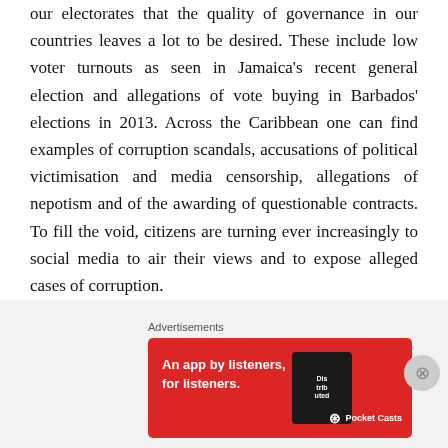our electorates that the quality of governance in our countries leaves a lot to be desired. These include low voter turnouts as seen in Jamaica's recent general election and allegations of vote buying in Barbados' elections in 2013. Across the Caribbean one can find examples of corruption scandals, accusations of political victimisation and media censorship, allegations of nepotism and of the awarding of questionable contracts. To fill the void, citizens are turning ever increasingly to social media to air their views and to expose alleged cases of corruption.
Governance for sustainable development
[Figure (other): Advertisement banner: Pocket Casts app advertisement with red background, showing 'An app by listeners, for listeners.' with Pocket Casts logo and a phone image showing 'Distributed' podcast app]